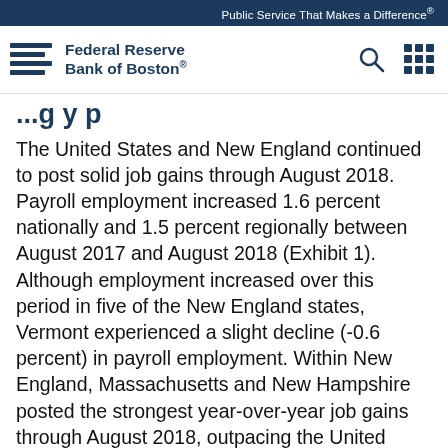Public Service That Makes a Difference®
Federal Reserve Bank of Boston®
[partial heading cut off]
The United States and New England continued to post solid job gains through August 2018. Payroll employment increased 1.6 percent nationally and 1.5 percent regionally between August 2017 and August 2018 (Exhibit 1). Although employment increased over this period in five of the New England states, Vermont experienced a slight decline (-0.6 percent) in payroll employment. Within New England, Massachusetts and New Hampshire posted the strongest year-over-year job gains through August 2018, outpacing the United States at 1.9 percent and 1.8 percent, respectively (Exhibit 2). Connecticut (1.5 percent), Rhode Island (1.3 percent), and Maine (1.1